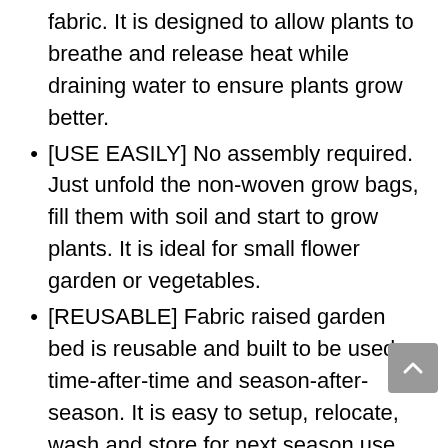fabric. It is designed to allow plants to breathe and release heat while draining water to ensure plants grow better.
[USE EASILY] No assembly required. Just unfold the non-woven grow bags, fill them with soil and start to grow plants. It is ideal for small flower garden or vegetables.
[REUSABLE] Fabric raised garden bed is reusable and built to be used time-after-time and season-after-season. It is easy to setup, relocate, wash and store for next season use.
[SIZE] 4'L x 2'W x 15"H rectangular shape. It can be placed on any flat surface, like grass, lawn, yard, patio, concrete, etc. Best choice to adjust...